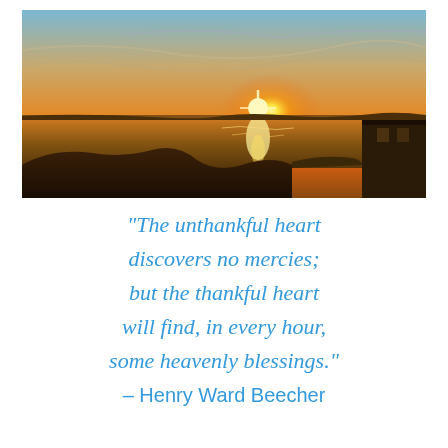[Figure (photo): Sunset over a calm body of water with a glowing orange and golden sky. The sun is setting on the horizon, reflecting on the water. Silhouettes of low hills or land masses are visible in the foreground, and a building structure is partially visible on the right side.]
“The unthankful heart discovers no mercies; but the thankful heart will find, in every hour, some heavenly blessings.” – Henry Ward Beecher